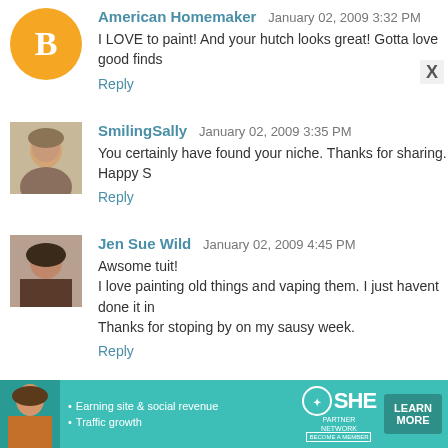American Homemaker  January 02, 2009 3:32 PM
I LOVE to paint! And your hutch looks great! Gotta love good finds
Reply
SmilingSally  January 02, 2009 3:35 PM
You certainly have found your niche. Thanks for sharing. Happy S
Reply
Jen Sue Wild  January 02, 2009 4:45 PM
Awsome tuit!
I love painting old things and vaping them. I just havent done it in
Thanks for stoping by on my sausy week.
Reply
Rechelle ~Walnuthaven Cottage~  January 02, 2009 5:01 PM
It's wonderful how a little paint can be a breath of new life fo
[Figure (infographic): SHE Partner Network advertisement banner with woman photo, bullets for Earning site & social revenue and Traffic growth, SHE logo, and LEARN MORE button]